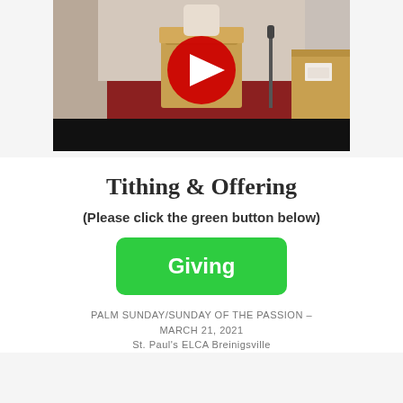[Figure (screenshot): YouTube video thumbnail showing a church interior with a wooden pulpit/lectern and pews. A YouTube play button (red with white triangle) is overlaid in the center. The bottom portion of the thumbnail is black.]
Tithing & Offering
(Please click the green button below)
[Figure (other): Green button labeled 'Giving']
PALM SUNDAY/SUNDAY OF THE PASSION – MARCH 21, 2021
St. Paul's ELCA Breinigsville